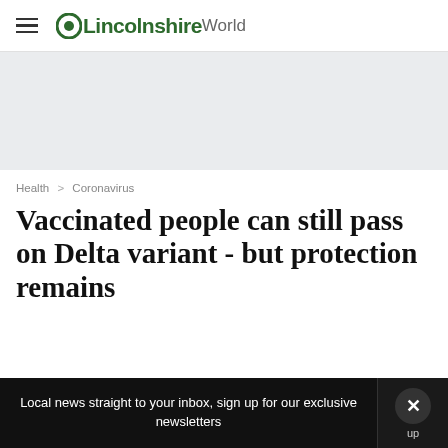≡ OLincolnshireWorld
[Figure (other): Advertisement placeholder area with light grey background]
Health > Coronavirus
Vaccinated people can still pass on Delta variant - but protection remains
Local news straight to your inbox, sign up for our exclusive newsletters